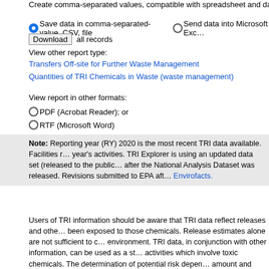Create comma-separated values, compatible with spreadsheet and databa…
● Save data in comma-separated-value, CSV, file ○ Send data into Microsoft Exc…
Download all records
View other report type:
Transfers Off-site for Further Waste Management
Quantities of TRI Chemicals in Waste (waste management)
View report in other formats:
○ PDF (Acrobat Reader); or
○ RTF (Microsoft Word)
Note: Reporting year (RY) 2020 is the most recent TRI data available. Facilities r… year's activities. TRI Explorer is using an updated data set (released to the public… after the National Analysis Dataset was released. Revisions submitted to EPA aft… Envirofacts.
Users of TRI information should be aware that TRI data reflect releases and othe… been exposed to those chemicals. Release estimates alone are not sufficient to c… environment. TRI data, in conjunction with other information, can be used as a st… activities which involve toxic chemicals. The determination of potential risk depen… amount and duration of human or other exposure to the chemical after it is releas…
This report ranks the 100 largest facilities reporting in a particular disposal or oth… disposal or other releases). By sorting on different disposal or other release categ… ranking the top 100 facilities for the specific category chosen. Note that the top 1…